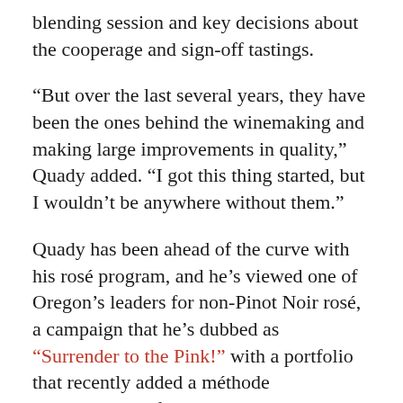blending session and key decisions about the cooperage and sign-off tastings.
“But over the last several years, they have been the ones behind the winemaking and making large improvements in quality,” Quady added. “I got this thing started, but I wouldn’t be anywhere without them.”
Quady has been ahead of the curve with his rosé program, and he’s viewed one of Oregon’s leaders for non-Pinot Noir rosé, a campaign that he’s dubbed as “Surrender to the Pink!” with a portfolio that recently added a méthode Champenoise of estate-grown Cabernet Franc.
His breadbasket for Grenache-based rosés is his family’s Mae’s Vineyard, a planting at 1,500 feet